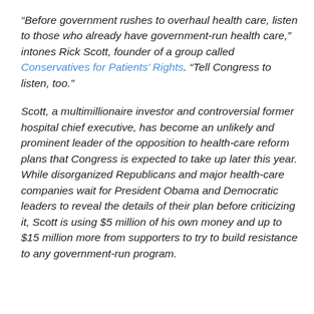“Before government rushes to overhaul health care, listen to those who already have government-run health care,” intones Rick Scott, founder of a group called Conservatives for Patients’ Rights. “Tell Congress to listen, too.”
Scott, a multimillionaire investor and controversial former hospital chief executive, has become an unlikely and prominent leader of the opposition to health-care reform plans that Congress is expected to take up later this year. While disorganized Republicans and major health-care companies wait for President Obama and Democratic leaders to reveal the details of their plan before criticizing it, Scott is using $5 million of his own money and up to $15 million more from supporters to try to build resistance to any government-run program.